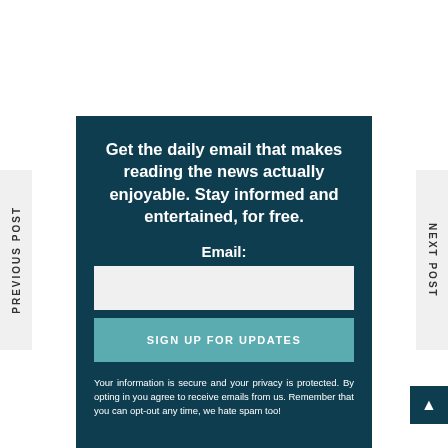PREVIOUS POST
NEXT POST
Get the daily email that makes reading the news actually enjoyable. Stay informed and entertained, for free.
Email:
SIGN UP FOR UPDATES
Your information is secure and your privacy is protected. By opting in you agree to receive emails from us. Remember that you can opt-out any time, we hate spam too!